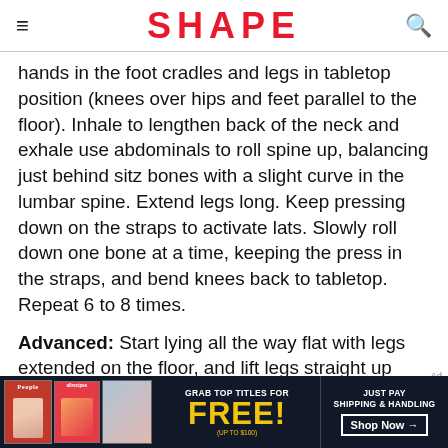SHAPE
hands in the foot cradles and legs in tabletop position (knees over hips and feet parallel to the floor). Inhale to lengthen back of the neck and exhale use abdominals to roll spine up, balancing just behind sitz bones with a slight curve in the lumbar spine. Extend legs long. Keep pressing down on the straps to activate lats. Slowly roll down one bone at a time, keeping the press in the straps, and bend knees back to tabletop. Repeat 6 to 8 times.
Advanced: Start lying all the way flat with legs extended on the floor, and lift legs straight up
[Figure (other): Advertisement banner: Grab top titles for FREE (up to $100), Just Pay Shipping & Handling, Shop Now button. Features People and allrecipes magazine covers.]